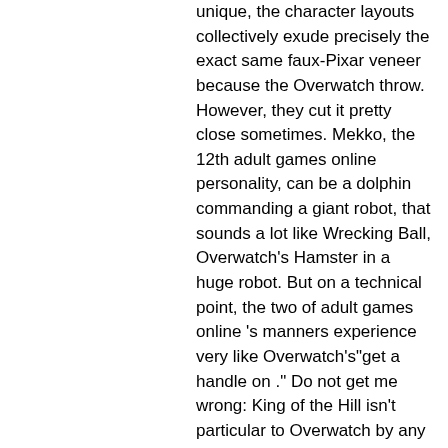unique, the character layouts collectively exude precisely the exact same faux-Pixar veneer because the Overwatch throw. However, they cut it pretty close sometimes. Mekko, the 12th adult games online personality, can be a dolphin commanding a giant robot, that sounds a lot like Wrecking Ball, Overwatch's Hamster in a huge robot. But on a technical point, the two of adult games online 's manners experience very like Overwatch's"get a handle on ." Do not get me wrong: King of the Hill isn't particular to Overwatch by any means–multiplayer matches have been riffing online for years–but the MOBA-esque skill-sets of all adult games online 's personalities lead one to approach people scenarios with hero shooter approaches. While each and every character is wellbalanced individually, the roster as